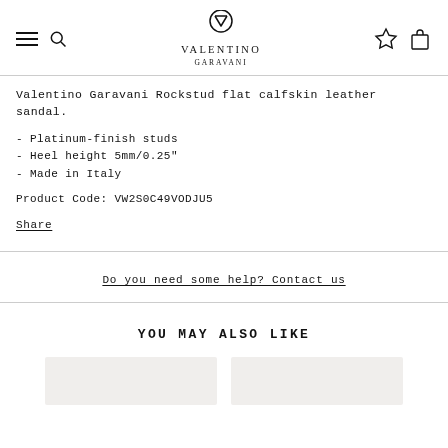Valentino Garavani — site header with hamburger menu, search, logo, wishlist, and cart icons
Valentino Garavani Rockstud flat calfskin leather sandal.
- Platinum-finish studs
- Heel height 5mm/0.25"
- Made in Italy
Product Code: VW2S0C49VODJU5
Share
Do you need some help? Contact us
YOU MAY ALSO LIKE